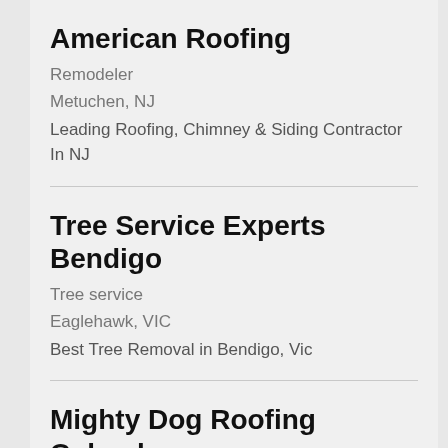American Roofing
Remodeler
Metuchen, NJ
Leading Roofing, Chimney & Siding Contractor In NJ
Tree Service Experts Bendigo
Tree service
Eaglehawk, VIC
Best Tree Removal in Bendigo, Vic
Mighty Dog Roofing Columbus West